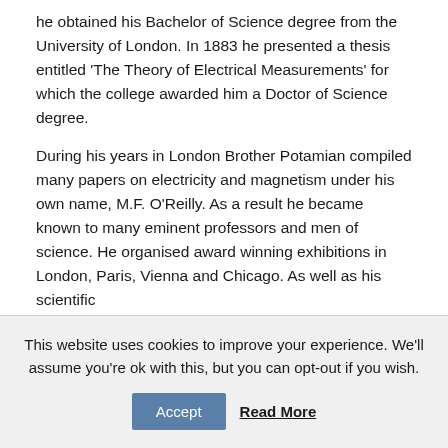he obtained his Bachelor of Science degree from the University of London. In 1883 he presented a thesis entitled 'The Theory of Electrical Measurements' for which the college awarded him a Doctor of Science degree.

During his years in London Brother Potamian compiled many papers on electricity and magnetism under his own name, M.F. O'Reilly. As a result he became known to many eminent professors and men of science. He organised award winning exhibitions in London, Paris, Vienna and Chicago. As well as his scientific
This website uses cookies to improve your experience. We'll assume you're ok with this, but you can opt-out if you wish. Accept Read More